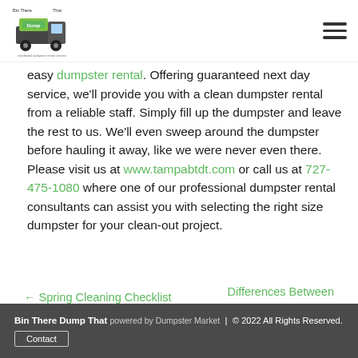Bin There Dump That logo and navigation menu
easy dumpster rental. Offering guaranteed next day service, we'll provide you with a clean dumpster rental from a reliable staff. Simply fill up the dumpster and leave the rest to us. We'll even sweep around the dumpster before hauling it away, like we were never even there. Please visit us at www.tampabtdt.com or call us at 727-475-1080 where one of our professional dumpster rental consultants can assist you with selecting the right size dumpster for your clean-out project.
← Spring Cleaning Checklist
Differences Between Dumpster Rental and Junk Removal →
Bin There Dump That powered by Dumpster Market | © 2022 All Rights Reserved. Contact